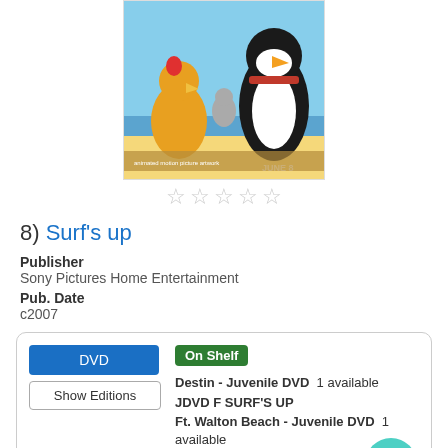[Figure (photo): Movie poster for Surf's Up showing animated penguin, chicken, and seagull at beach with 'June 8' text]
[Figure (other): 5 empty star rating widgets (no stars filled)]
8) Surf's up
Publisher
Sony Pictures Home Entertainment
Pub. Date
c2007
DVD | Show Editions | On Shelf
Destin - Juvenile DVD 1 available
JDVD F SURF'S UP
Ft. Walton Beach - Juvenile DVD 1 available
J DVD SURF'S UP
Valparaiso - Juvenile DVD 2 available
DVD JF SURFS
Place Hold